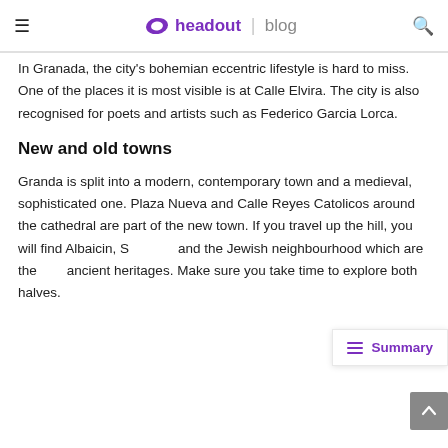headout | blog
In Granada, the city's bohemian eccentric lifestyle is hard to miss. One of the places it is most visible is at Calle Elvira. The city is also recognised for poets and artists such as Federico Garcia Lorca.
New and old towns
Granda is split into a modern, contemporary town and a medieval, sophisticated one. Plaza Nueva and Calle Reyes Catolicos around the cathedral are part of the new town. If you travel up the hill, you will find Albaicin, S[obscured] and the Jewish neighbourhood which are the [obscured] ancient heritages. Make sure you take time to explore both halves.